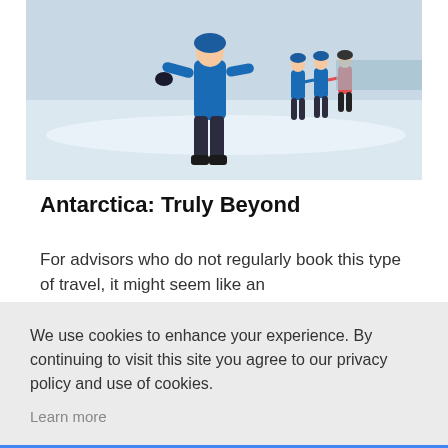[Figure (photo): People in blue winter gear walking across snowy Antarctic landscape]
Antarctica: Truly Beyond
For advisors who do not regularly book this type of travel, it might seem like an
We use cookies to enhance your experience. By continuing to visit this site you agree to our privacy policy and use of cookies.
Learn more
OK